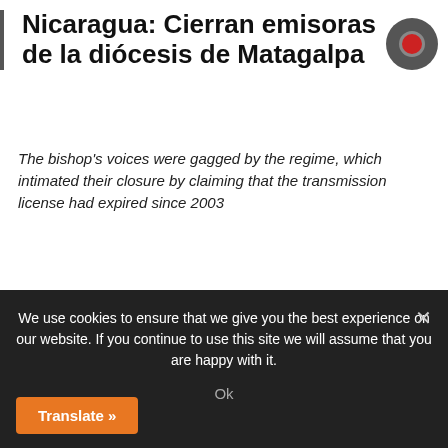Nicaragua: Cierran emisoras de la diócesis de Matagalpa
The bishop's voices were gagged by the regime, which intimated their closure by claiming that the transmission license had expired since 2003
Source
In his sermons, Bishop Rolando José Álvarez of the Diocese of Matagalpa was not soft on President Daniel Ortega. And in the end, his voice was silenced: the Instituto Nicaragüense de Telecomunicaciones y Correos (TELCOR) enjoined the closure of eight stations in the diocese as of Aug. 1, 2022, because they allegedly
We use cookies to ensure that we give you the best experience on our website. If you continue to use this site we will assume that you are happy with it.
Ok
Translate »